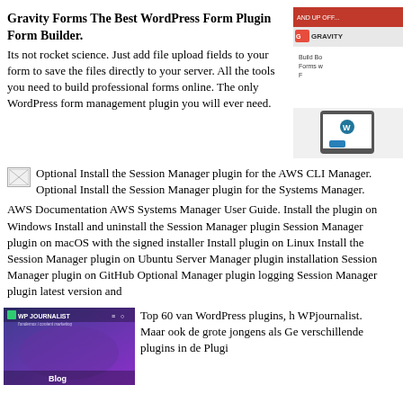Gravity Forms The Best WordPress Form Plugin Form Builder.
Its not rocket science. Just add file upload fields to your form to save the files directly to your server. All the tools you need to build professional forms online. The only WordPress form management plugin you will ever need.
[Figure (screenshot): Screenshot of Gravity Forms website showing logo and interface]
[Figure (photo): Broken/missing image icon for AWS Session Manager plugin]
Optional Install the Session Manager plugin for the AWS CLI Manager. Optional Install the Session Manager plugin for the Systems Manager.
AWS Documentation AWS Systems Manager User Guide. Install the plugin on Windows Install and uninstall the Session Manager plugin Session Manager plugin on macOS with the signed installer Install plugin on Linux Install the Session Manager plugin on Ubuntu Server Manager plugin installation Session Manager plugin on GitHub Optional Manager plugin logging Session Manager plugin latest version and
[Figure (screenshot): WP Journalist blog website screenshot with purple/blue header]
Top 60 van WordPress plugins, h WPjournalist.
Maar ook de grote jongens als Ge verschillende plugins in de Plugi